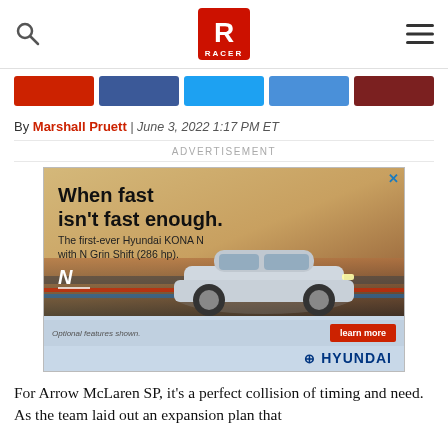RACER (logo header with search and hamburger menu)
[Figure (screenshot): Social share buttons: red, dark blue, light blue, medium blue, dark red]
By Marshall Pruett | June 3, 2022 1:17 PM ET
ADVERTISEMENT
[Figure (photo): Hyundai KONA N advertisement: 'When fast isn't fast enough. The first-ever Hyundai KONA N with N Grin Shift (286 hp).' showing a silver Hyundai KONA N car driving on a track. Includes N logo, learn more button, and Hyundai branding. Optional features shown disclaimer.]
For Arrow McLaren SP, it's a perfect collision of timing and need. As the team laid out an expansion plan that